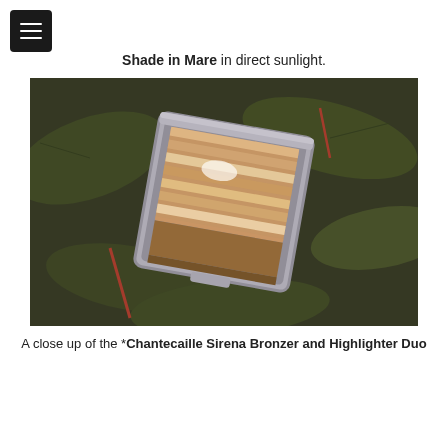Shade in Mare in direct sunlight.
[Figure (photo): Close-up photo of Chantecaille Sirena Bronzer and Highlighter Duo compact open, showing striped shimmer pan, set against dark green tropical leaves background]
A close up of the *Chantecaille Sirena Bronzer and Highlighter Duo
[Figure (other): Social media icons row: Instagram, Facebook, Reddit, Twitter; partial photo below]